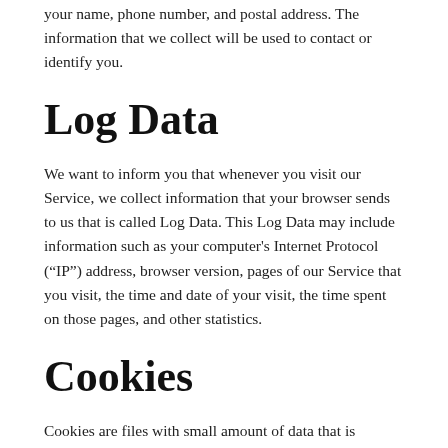your name, phone number, and postal address. The information that we collect will be used to contact or identify you.
Log Data
We want to inform you that whenever you visit our Service, we collect information that your browser sends to us that is called Log Data. This Log Data may include information such as your computer's Internet Protocol (“IP”) address, browser version, pages of our Service that you visit, the time and date of your visit, the time spent on those pages, and other statistics.
Cookies
Cookies are files with small amount of data that is commonly used an anonymous unique identifier. These